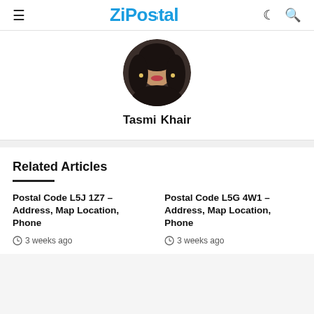ZiPostal
[Figure (photo): Circular profile photo of Tasmi Khair, a woman wearing dark clothing with earrings]
Tasmi Khair
Related Articles
Postal Code L5J 1Z7 – Address, Map Location, Phone
3 weeks ago
Postal Code L5G 4W1 – Address, Map Location, Phone
3 weeks ago